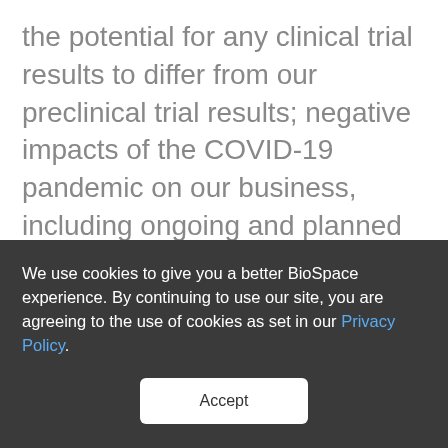the potential for any clinical trial results to differ from our preclinical trial results; negative impacts of the COVID-19 pandemic on our business, including ongoing and planned clinical trials and ongoing and planned preclinical trials; competition in our industry; regulatory developments in the United States and other countries; our ability to attract, hire and retain highly skilled executive officers and employees; difficulties in managing our growth; our ability to
We use cookies to give you a better BioSpace experience. By continuing to use our site, you are agreeing to the use of cookies as set in our Privacy Policy.
Accept